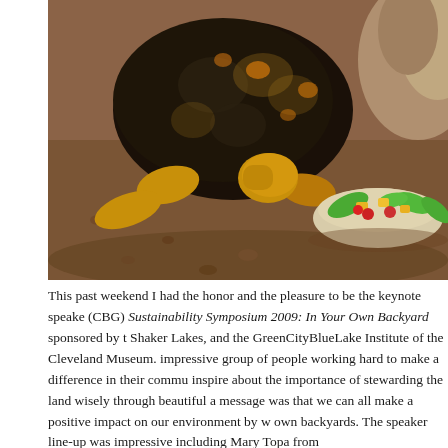[Figure (photo): Close-up photograph of a red-footed tortoise on rocky/gravelly ground, looking toward a small plate/bowl containing a colorful salad with greens, orange cubes, and red cherry tomatoes. Rocks visible in upper right background.]
This past weekend I had the honor and the pleasure to be the keynote speaker (CBG) Sustainability Symposium 2009: In Your Own Backyard sponsored by the Shaker Lakes, and the GreenCityBlueLake Institute of the Cleveland Museum. impressive group of people working hard to make a difference in their community inspire about the importance of stewarding the land wisely through beautiful a message was that we can all make a positive impact on our environment by w own backyards. The speaker line-up was impressive including Mary Topa from